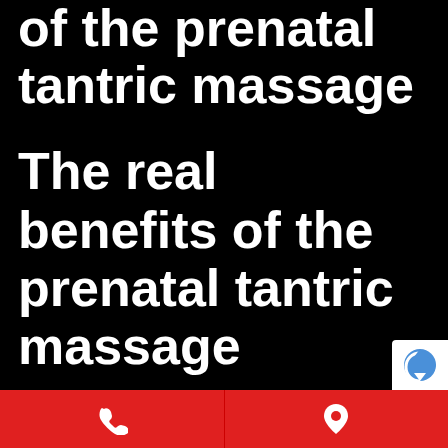of the prenatal tantric massage
The real benefits of the prenatal tantric massage
Healthy mom, healthy baby
[Figure (other): reCAPTCHA badge icon in bottom right corner]
Phone icon | Location pin icon (red action bar)